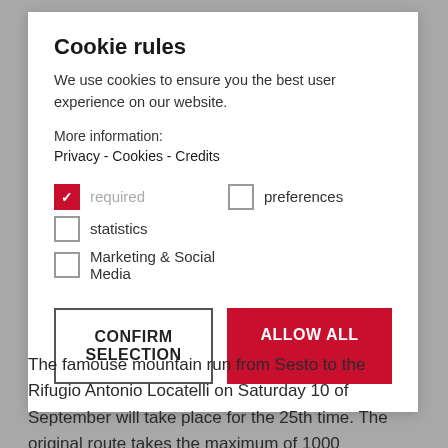Cookie rules
We use cookies to ensure you the best user experience on our website.
More information:
Privacy - Cookies - Credits
required (checked)
preferences
statistics
Marketing & Social Media
CONFIRM SELECTION
ALLOW ALL
The famouse mountain run from Sesto to the Rifugio Antonio Locatelli on Saturday 10 of September will take place for the 25th time. The original route takes the maximum of 1000 participants over 17 ...